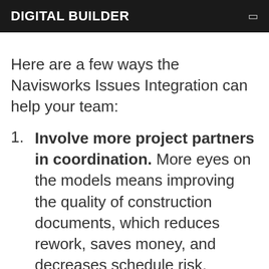DIGITAL BUILDER
Here are a few ways the Navisworks Issues Integration can help your team:
Involve more project partners in coordination. More eyes on the models means improving the quality of construction documents, which reduces rework, saves money, and decreases schedule risk.
Work in a unified platform. Contractors use one tool for coordination in a common data...